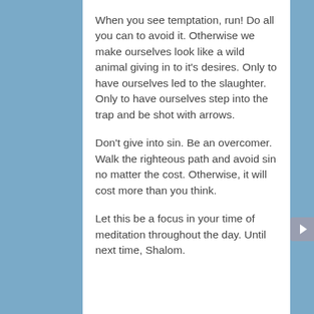When you see temptation, run! Do all you can to avoid it. Otherwise we make ourselves look like a wild animal giving in to it's desires. Only to have ourselves led to the slaughter. Only to have ourselves step into the trap and be shot with arrows.
Don't give into sin. Be an overcomer. Walk the righteous path and avoid sin no matter the cost. Otherwise, it will cost more than you think.
Let this be a focus in your time of meditation throughout the day. Until next time, Shalom.